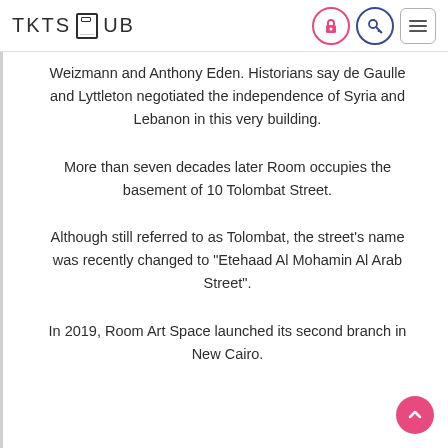TKTS HUB
Weizmann and Anthony Eden. Historians say de Gaulle and Lyttleton negotiated the independence of Syria and Lebanon in this very building.
More than seven decades later Room occupies the basement of 10 Tolombat Street.
Although still referred to as Tolombat, the street’s name was recently changed to “Etehaad Al Mohamin Al Arab Street”.
In 2019, Room Art Space launched its second branch in New Cairo.